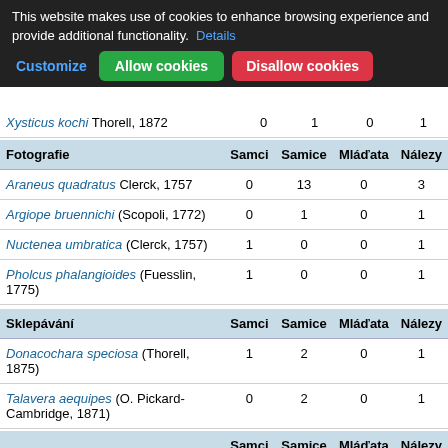This website makes use of cookies to enhance browsing experience and provide additional functionality. Details
Customize | Allow cookies | Disallow cookies
|  | Samci | Samice | Mláďata | Nálezy |
| --- | --- | --- | --- | --- |
| Xysticus kochi Thorell, 1872 | 0 | 1 | 0 | 1 |
| Fotografie | Samci | Samice | Mláďata | Nálezy |
| --- | --- | --- | --- | --- |
| Araneus quadratus Clerck, 1757 | 0 | 13 | 0 | 3 |
| Argiope bruennichi (Scopoli, 1772) | 0 | 1 | 0 | 1 |
| Nuctenea umbratica (Clerck, 1757) | 1 | 0 | 0 | 1 |
| Pholcus phalangioides (Fuesslin, 1775) | 1 | 0 | 0 | 1 |
| Sklepávání | Samci | Samice | Mláďata | Nálezy |
| --- | --- | --- | --- | --- |
| Donacochara speciosa (Thorell, 1875) | 1 | 2 | 0 | 1 |
| Talavera aequipes (O. Pickard-Cambridge, 1871) | 0 | 2 | 0 | 1 |
|  | Samci | Samice | Mláďata | Nálezy |
| --- | --- | --- | --- | --- |
Dle biotopu (369 použitých nálezů)